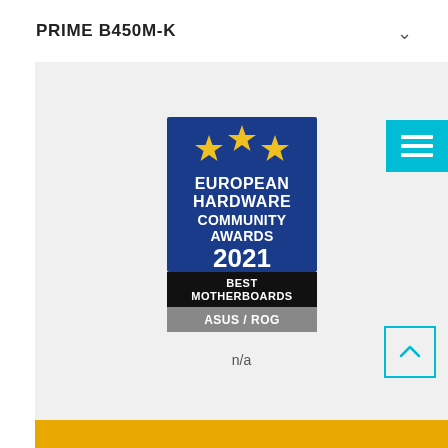PRIME B450M-K
[Figure (logo): European Hardware Community Awards 2021 Best Motherboards ASUS/ROG badge. Blue background with yellow stars, white bold text reading EUROPEAN HARDWARE COMMUNITY AWARDS 2021, black band with BEST MOTHERBOARDS, grey band with ASUS / ROG.]
n/a